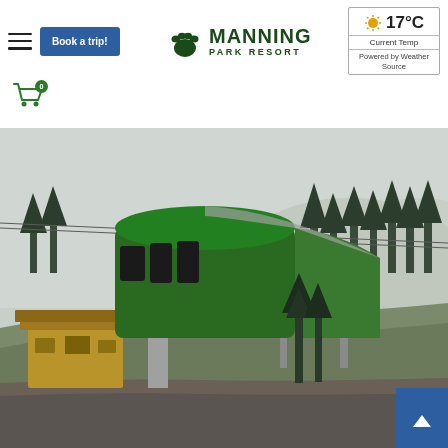Manning Park Resort website header with navigation, Book a trip button, logo, and weather widget showing 17°C Current Temp, Powered by Weather Source
[Figure (photo): Green gondola/chairlift terminal building at Manning Park Resort ski area, with ski lift towers, forested mountain slopes, and overcast sky in background.]